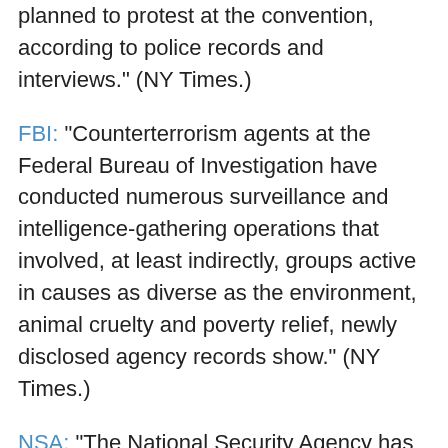planned to protest at the convention, according to police records and interviews." (NY Times.)
FBI: "Counterterrorism agents at the Federal Bureau of Investigation have conducted numerous surveillance and intelligence-gathering operations that involved, at least indirectly, groups active in causes as diverse as the environment, animal cruelty and poverty relief, newly disclosed agency records show." (NY Times.)
NSA: "The National Security Agency has been spying on a Baltimore anti-war group, according to documents released during litigation, going so far as to document the inflating of protesters' balloons, and intended to deploy units trained to detect weapons of mass destruction . . . the Pledge of Resistance-Baltimore, a Quaker-linked peace group, has been monitored by the NSA working with the Baltimore Intelligence Unit of the Baltimore City Police Department." (Raw Story.)